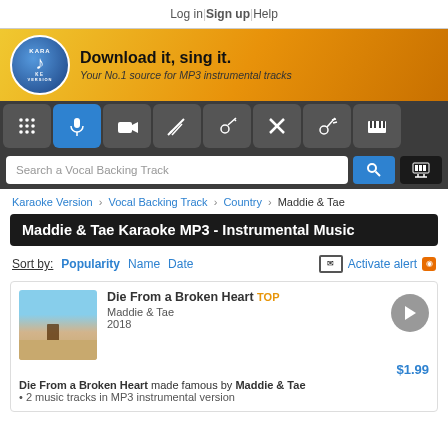Log in | Sign up | Help
[Figure (logo): Karaoke Version logo with music note on blue oval]
Download it, sing it. Your No.1 source for MP3 instrumental tracks
[Figure (infographic): Navigation icon bar with music/instrument icons including microphone, camera, guitar, and piano]
Search a Vocal Backing Track
Karaoke Version > Vocal Backing Track > Country > Maddie & Tae
Maddie & Tae Karaoke MP3 - Instrumental Music
Sort by: Popularity Name Date  Activate alert
[Figure (photo): Album art thumbnail showing a person walking on a country road]
Die From a Broken Heart TOP
Maddie & Tae
2018
$1.99
Die From a Broken Heart made famous by Maddie & Tae
• 2 music tracks in MP3 instrumental version